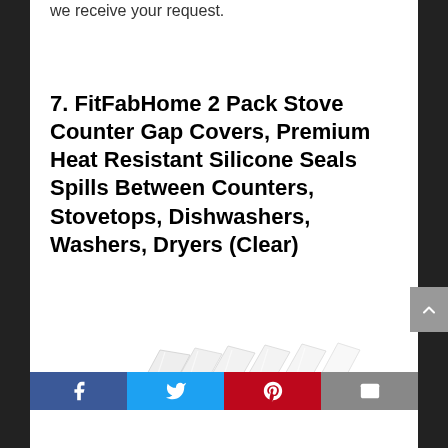we receive your request.
7. FitFabHome 2 Pack Stove Counter Gap Covers, Premium Heat Resistant Silicone Seals Spills Between Counters, Stovetops, Dishwashers, Washers, Dryers (Clear)
[Figure (photo): Clear silicone stove counter gap covers product photo showing transparent flexible strips fanned out on white background]